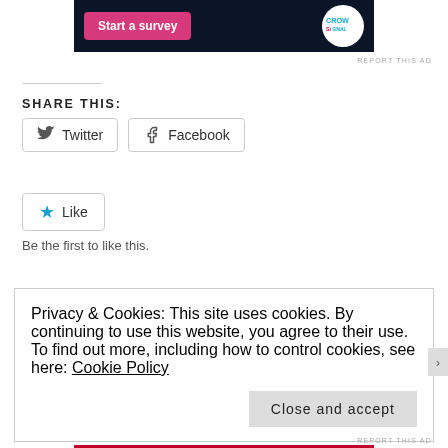[Figure (screenshot): Ad banner with pink 'Start a survey' button and Crowdsignal logo on dark background]
REPORT THIS AD
SHARE THIS:
Twitter  Facebook
★ Like
Be the first to like this.
Privacy & Cookies: This site uses cookies. By continuing to use this website, you agree to their use.
To find out more, including how to control cookies, see here: Cookie Policy
Close and accept
REPORT THIS AD